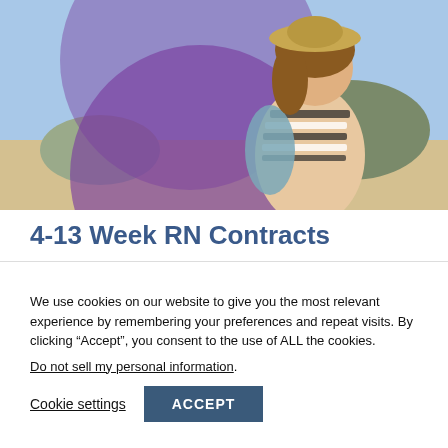[Figure (photo): Woman with hat and striped top at beach, with large purple circular decorative overlay behind her]
4-13 Week RN Contracts
We use cookies on our website to give you the most relevant experience by remembering your preferences and repeat visits. By clicking “Accept”, you consent to the use of ALL the cookies.
Do not sell my personal information.
Cookie settings   ACCEPT